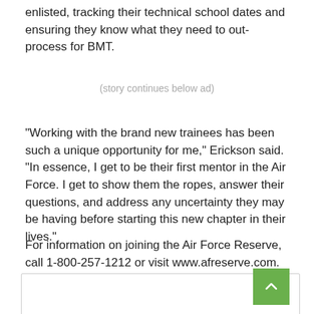enlisted, tracking their technical school dates and ensuring they know what they need to out-process for BMT.
(story continues below ad)
“Working with the brand new trainees has been such a unique opportunity for me,” Erickson said. “In essence, I get to be their first mentor in the Air Force. I get to show them the ropes, answer their questions, and address any uncertainty they may be having before starting this new chapter in their lives.”
For information on joining the Air Force Reserve, call 1-800-257-1212 or visit www.afreserve.com.
[Figure (other): Advertisement box with scroll-to-top button (green square with upward arrow)]